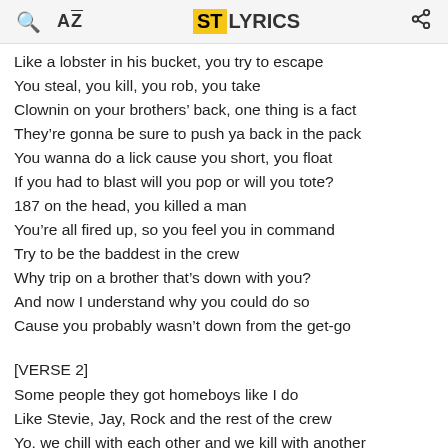ST LYRICS
Like a lobster in his bucket, you try to escape
You steal, you kill, you rob, you take
Clownin on your brothers’ back, one thing is a fact
They’re gonna be sure to push ya back in the pack
You wanna do a lick cause you short, you float
If you had to blast will you pop or will you tote?
187 on the head, you killed a man
You’re all fired up, so you feel you in command
Try to be the baddest in the crew
Why trip on a brother that’s down with you?
And now I understand why you could do so
Cause you probably wasn’t down from the get-go
[VERSE 2]
Some people they got homeboys like I do
Like Stevie, Jay, Rock and the rest of the crew
Yo, we chill with each other and we kill with another
And we never ever keep anything undercover
Cause if we do, we have to keep it in a circle
You’re soft as a nerd, so don’t be trippin on the turf, yo
This is what they say...